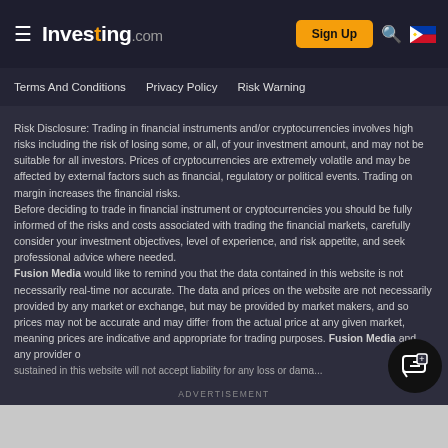Investing.com | Sign Up
Terms And Conditions   Privacy Policy   Risk Warning
Risk Disclosure: Trading in financial instruments and/or cryptocurrencies involves high risks including the risk of losing some, or all, of your investment amount, and may not be suitable for all investors. Prices of cryptocurrencies are extremely volatile and may be affected by external factors such as financial, regulatory or political events. Trading on margin increases the financial risks.
Before deciding to trade in financial instrument or cryptocurrencies you should be fully informed of the risks and costs associated with trading the financial markets, carefully consider your investment objectives, level of experience, and risk appetite, and seek professional advice where needed.
Fusion Media would like to remind you that the data contained in this website is not necessarily real-time nor accurate. The data and prices on the website are not necessarily provided by any market or exchange, but may be provided by market makers, and so prices may not be accurate and may differ from the actual price at any given market, meaning prices are indicative and not appropriate for trading purposes. Fusion Media and any provider of the data contained in this website will not accept liability for any loss or damage...
ADVERTISEMENT